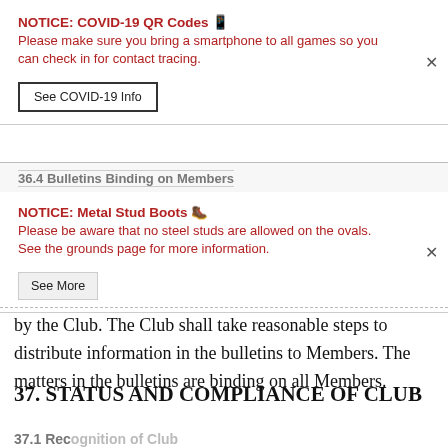NOTICE: COVID-19 QR Codes 🔲
Please make sure you bring a smartphone to all games so you can check in for contact tracing.
See COVID-19 Info
36.4 Bulletins Binding on Members
NOTICE: Metal Stud Boots 🔲
Please be aware that no steel studs are allowed on the ovals. See the grounds page for more information.
See More
by the Club. The Club shall take reasonable steps to distribute information in the bulletins to Members. The matters in the bulletins are binding on all Members.
37. STATUS AND COMPLIANCE OF CLUB
37.1 Recognition of Club